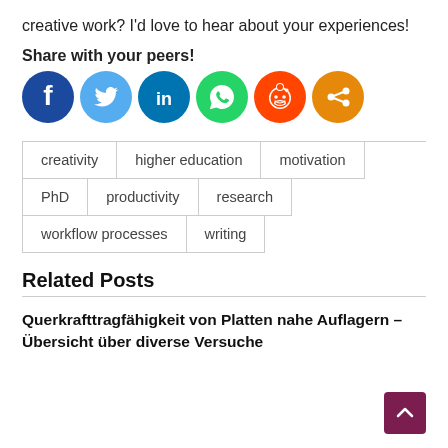creative work? I'd love to hear about your experiences!
Share with your peers!
[Figure (infographic): Social sharing icons: Facebook (dark blue), Twitter (light blue), LinkedIn (dark blue), WhatsApp (green), Reddit (orange-red), Share (orange)]
creativity
higher education
motivation
PhD
productivity
research
workflow processes
writing
Related Posts
Querkrafttragfähigkeit von Platten nahe Auflagern – Übersicht über diverse Versuche